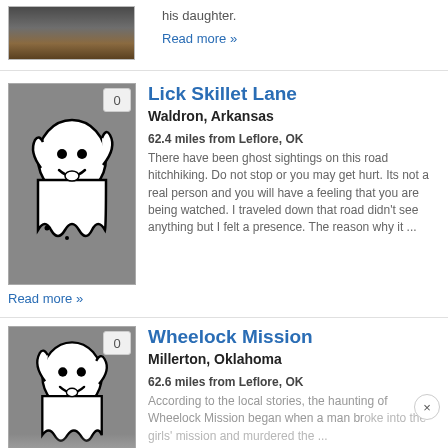[Figure (photo): Partial top of a building photo, cropped]
his daughter.
Read more »
[Figure (illustration): Ghost cartoon illustration on grey background with badge showing 0]
Lick Skillet Lane
Waldron, Arkansas
62.4 miles from Leflore, OK
There have been ghost sightings on this road hitchhiking. Do not stop or you may get hurt. Its not a real person and you will have a feeling that you are being watched. I traveled down that road didn't see anything but I felt a presence. The reason why it ...
Read more »
[Figure (illustration): Ghost cartoon illustration on grey background with badge showing 0]
Wheelock Mission
Millerton, Oklahoma
62.6 miles from Leflore, OK
According to the local stories, the haunting of Wheelock Mission began when a man broke into the girls' mission and murdered the ...